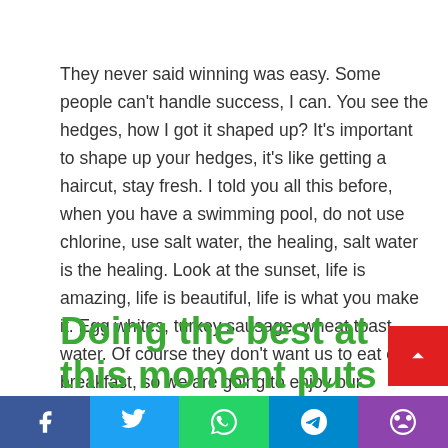They never said winning was easy. Some people can't handle success, I can. You see the hedges, how I got it shaped up? It's important to shape up your hedges, it's like getting a haircut, stay fresh. I told you all this before, when you have a swimming pool, do not use chlorine, use salt water, the healing, salt water is the healing. Look at the sunset, life is amazing, life is beautiful, life is what you make it. Egg whites, turkey sausage, wheat toast, water. Of course they don't want us to eat our breakfast, so we are going to enjoy our breakfast.
Doing the best at this moment puts you in the best place for